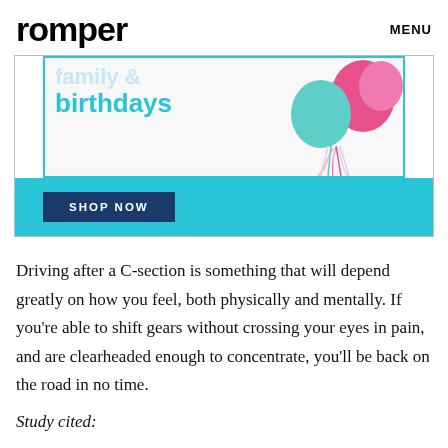romper   MENU
[Figure (illustration): Advertisement banner with cyan/teal color scheme showing 'family birthdays' text and balloons with a 'SHOP NOW' button]
Driving after a C-section is something that will depend greatly on how you feel, both physically and mentally. If you're able to shift gears without crossing your eyes in pain, and are clearheaded enough to concentrate, you'll be back on the road in no time.
Study cited: